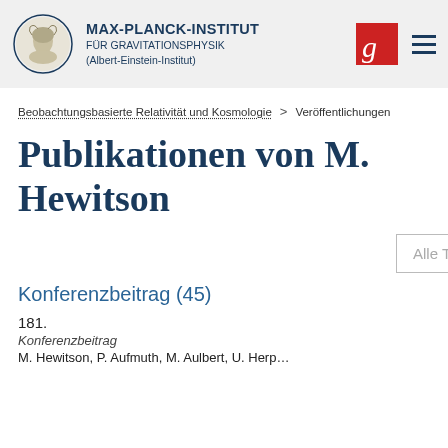[Figure (logo): Max-Planck-Institut für Gravitationsphysik header with institute logo (classical bust medallion), institute name text, Gravitationsphysik 'G' logo icon, and hamburger menu icon]
Beobachtungsbasierte Relativität und Kosmologie > Veröffentlichungen
Publikationen von M. Hewitson
Alle Typen
Konferenzbeitrag (45)
181.
Konferenzbeitrag
M. Hewitson, P. Aufmuth, M. Aulbert, U. Herp...